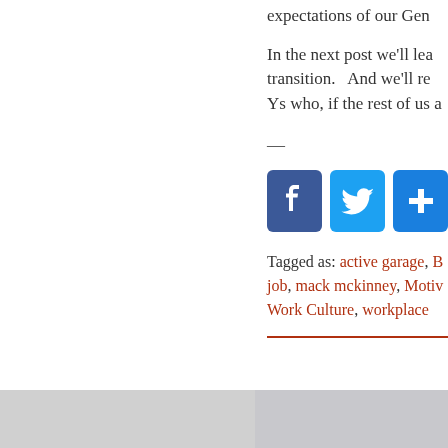expectations of our Gen
In the next post we'll lea transition.   And we'll re Ys who, if the rest of us a
[Figure (infographic): Social share buttons: Facebook (blue f icon), Twitter (blue bird icon), Share (blue plus icon)]
Tagged as: active garage, B job, mack mckinney, Motiv Work Culture, workplace